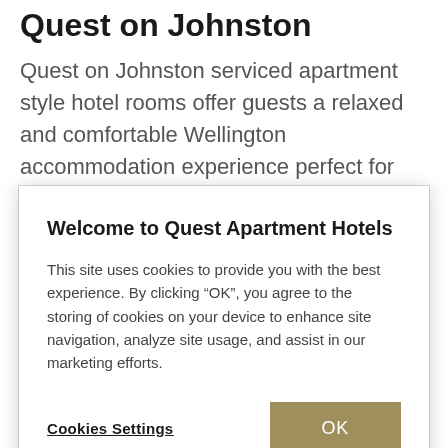Quest on Johnston
Quest on Johnston serviced apartment style hotel rooms offer guests a relaxed and comfortable Wellington accommodation experience perfect for short or long stays.
Quest on Johnston is located in the heart of Wellington's CBD and the major shopping area, minutes from Queens
Welcome to Quest Apartment Hotels
This site uses cookies to provide you with the best experience. By clicking “OK”, you agree to the storing of cookies on your device to enhance site navigation, analyze site usage, and assist in our marketing efforts.
Cookies Settings   OK
kitchenette. The One, Two and Three Bedroom Apartments